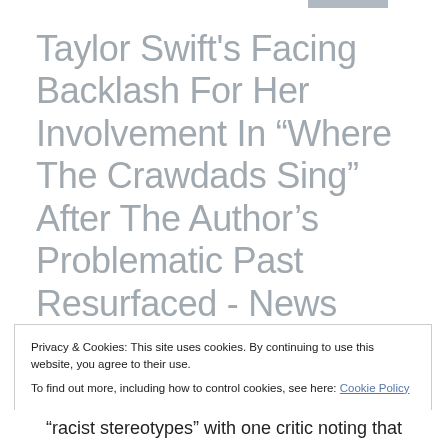Taylor Swift's Facing Backlash For Her Involvement In “Where The Crawdads Sing” After The Author’s Problematic Past Resurfaced - News World Express
Privacy & Cookies: This site uses cookies. By continuing to use this website, you agree to their use. To find out more, including how to control cookies, see here: Cookie Policy
Close and accept
“racist stereotypes” with one critic noting that